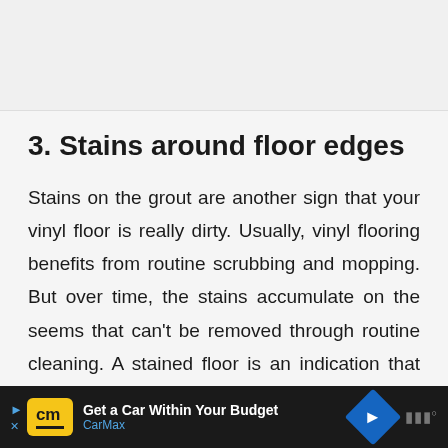3. Stains around floor edges
Stains on the grout are another sign that your vinyl floor is really dirty. Usually, vinyl flooring benefits from routine scrubbing and mopping. But over time, the stains accumulate on the seems that can't be removed through routine cleaning. A stained floor is an indication that the floor needs a
[Figure (other): Advertisement bar at the bottom: CarMax ad with yellow CM logo, text 'Get a Car Within Your Budget' and 'CarMax' in blue, a blue navigation diamond icon, and muted icons on the right side. Dark background.]